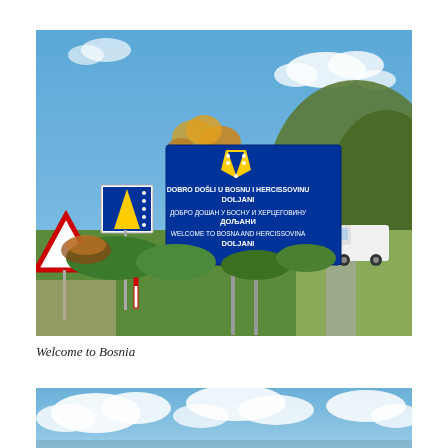[Figure (photo): Photograph of Bosnia and Herzegovina border entry signs. A large blue rectangular sign reads 'DOBRO DOŠLI U BOSNU I HERCEGOVINU DOLJANI', text in Cyrillic 'ДОБРО ДОШАН У БОСНУ И ХЕРЦЕГОВИНУ ДОЉАНИ', and 'WELCOME TO BOSNA AND HERCISSOVINA DOLJANI'. The sign features the Bosnia and Herzegovina coat of arms at the top. A smaller white sign on a separate post shows the Bosnian flag. A red and white warning triangle sign is partially visible on the left. Trees, green hills, a road, and a white van are visible in the background.]
Welcome to Bosnia
[Figure (photo): Partial photograph showing a partly cloudy blue sky, cropped at the bottom of the page.]